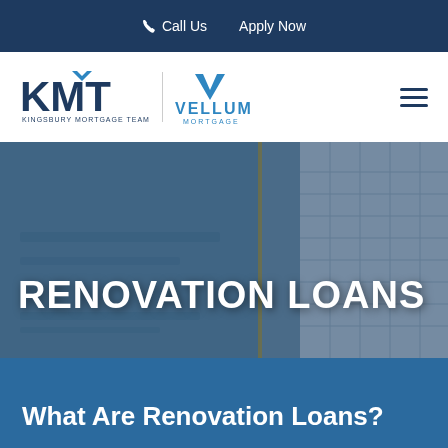Call Us  Apply Now
[Figure (logo): KMT Kingsbury Mortgage Team logo and Vellum Mortgage logo side by side with hamburger menu icon]
[Figure (photo): Background photo of a room interior (blurred), with dark navy overlay, displaying RENOVATION LOANS text in large bold white uppercase letters]
RENOVATION LOANS
What Are Renovation Loans?